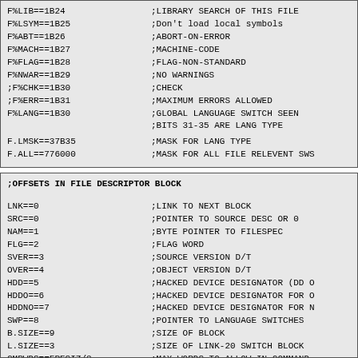F%LIB==1B24 ;LIBRARY SEARCH OF THIS FILE
F%LSYM==1B25 ;Don't load local symbols
F%ABT==1B26 ;ABORT-ON-ERROR
F%MACH==1B27 ;MACHINE-CODE
F%FLAG==1B28 ;FLAG-NON-STANDARD
F%NWAR==1B29 ;NO WARNINGS
;F%CHK==1B30 ;CHECK
;F%ERR==1B31 ;MAXIMUM ERRORS ALLOWED
F%LANG==1B30 ;GLOBAL LANGUAGE SWITCH SEEN
             ;BITS 31-35 ARE LANG TYPE
F.LMSK==37B35 ;MASK FOR LANG TYPE
F.ALL==776000 ;MASK FOR ALL FILE RELEVENT SWS
;OFFSETS IN FILE DESCRIPTOR BLOCK

LNK==0 ;LINK TO NEXT BLOCK
SRC==0 ;POINTER TO SOURCE DESC OR 0
NAM==1 ;BYTE POINTER TO FILESPEC
FLG==2 ;FLAG WORD
SVER==3 ;SOURCE VERSION D/T
OVER==4 ;OBJECT VERSION D/T
HDD==5 ;HACKED DEVICE DESIGNATOR (DD O
HDDO==6 ;HACKED DEVICE DESIGNATOR FOR O
HDDNO==7 ;HACKED DEVICE DESIGNATOR FOR N
SWP==8 ;POINTER TO LANGUAGE SWITCHES
B.SIZE==9 ;SIZE OF BLOCK
L.SIZE==3 ;SIZE OF LINK-20 SWITCH BLOCK
CMPWDS==FRESIZ/3 ;MAX WORDS TO ALLOW IN COMMAND.
         ;THIS  SINCE A "LOAD" AFTER "LO